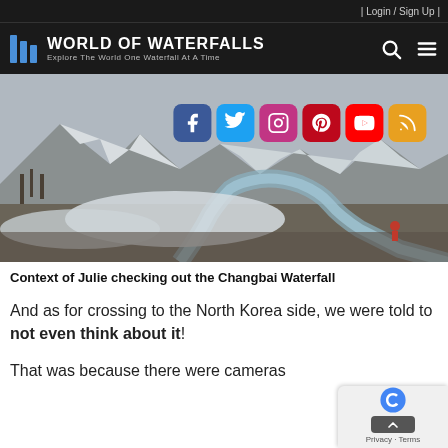| Login / Sign Up |
[Figure (logo): World of Waterfalls logo with three blue vertical bars and text 'World of Waterfalls - Explore The World One Waterfall At A Time' on dark background, with search and menu icons]
[Figure (photo): Winter landscape photo of a rocky stream running through a snow-covered valley with mountains in the background. Social media icons (Facebook, Twitter, Instagram, Pinterest, YouTube, RSS) overlaid in the upper right portion of the image.]
Context of Julie checking out the Changbai Waterfall
And as for crossing to the North Korea side, we were told to not even think about it!
That was because there were cameras